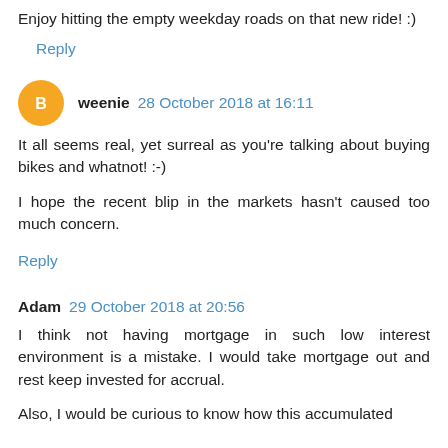Enjoy hitting the empty weekday roads on that new ride! :)
Reply
weenie 28 October 2018 at 16:11
It all seems real, yet surreal as you're talking about buying bikes and whatnot! :-)
I hope the recent blip in the markets hasn't caused too much concern.
Reply
Adam 29 October 2018 at 20:56
I think not having mortgage in such low interest environment is a mistake. I would take mortgage out and rest keep invested for accrual.
Also, I would be curious to know how this accumulated